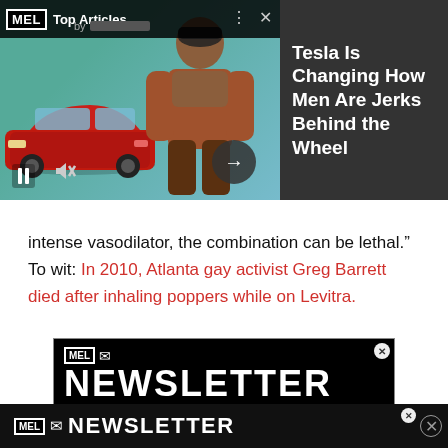[Figure (screenshot): MEL Top Articles ad banner showing a red Tesla car and a shirtless muscular man with arms crossed, alongside the headline 'Tesla Is Changing How Men Are Jerks Behind the Wheel' on a dark background. Controls include pause, mute, and next arrow buttons.]
intense vasodilator, the combination can be lethal." To wit: In 2010, Atlanta gay activist Greg Barrett died after inhaling poppers while on Levitra.
[Figure (screenshot): MEL Newsletter advertisement banner with MEL logo, envelope icon, and large 'NEWSLETTER' text on black background.]
[Figure (screenshot): Bottom MEL Newsletter advertisement bar with MEL logo, envelope icon, and NEWSLETTER text on black background.]